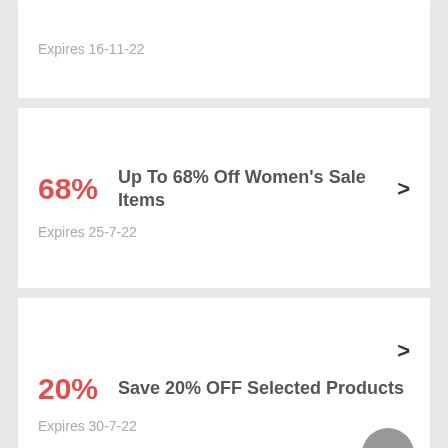Expires 16-11-22
68%
Up To 68% Off Women's Sale Items
Expires 25-7-22
20%
Save 20% OFF Selected Products
Expires 30-7-22
Up To 65% Off Women's...